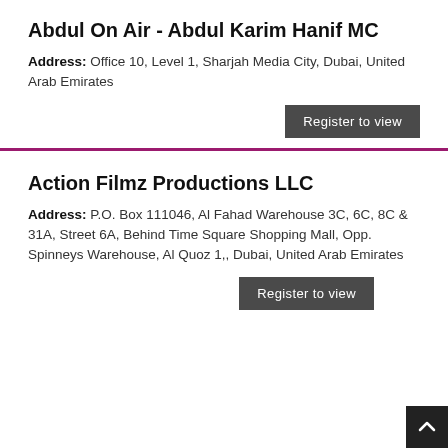Abdul On Air - Abdul Karim Hanif MC
Address: Office 10, Level 1, Sharjah Media City, Dubai, United Arab Emirates
Register to view
Action Filmz Productions LLC
Address: P.O. Box 111046, Al Fahad Warehouse 3C, 6C, 8C & 31A, Street 6A, Behind Time Square Shopping Mall, Opp. Spinneys Warehouse, Al Quoz 1,, Dubai, United Arab Emirates
Register to view